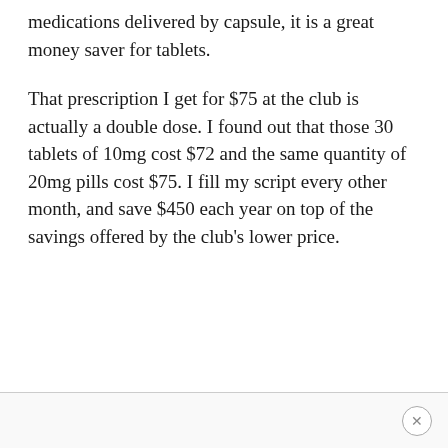medications delivered by capsule, it is a great money saver for tablets.
That prescription I get for $75 at the club is actually a double dose. I found out that those 30 tablets of 10mg cost $72 and the same quantity of 20mg pills cost $75. I fill my script every other month, and save $450 each year on top of the savings offered by the club's lower price.
×